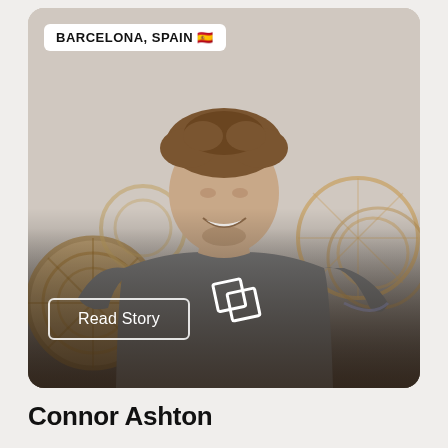[Figure (photo): Photo of a young man with curly brown hair, smiling, wearing a gray t-shirt with a white logo, standing in front of wicker wall decorations. Location badge reads 'BARCELONA, SPAIN' and a 'Read Story' button is overlaid at the bottom left of the photo.]
Connor Ashton